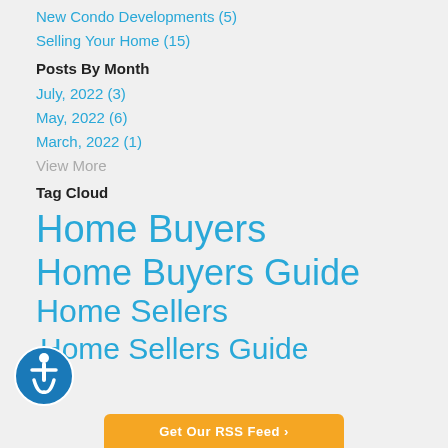New Condo Developments  (5)
Selling Your Home  (15)
Posts By Month
July, 2022  (3)
May, 2022  (6)
March, 2022  (1)
View More
Tag Cloud
Home Buyers
Home Buyers Guide
Home Sellers
Home Sellers Guide